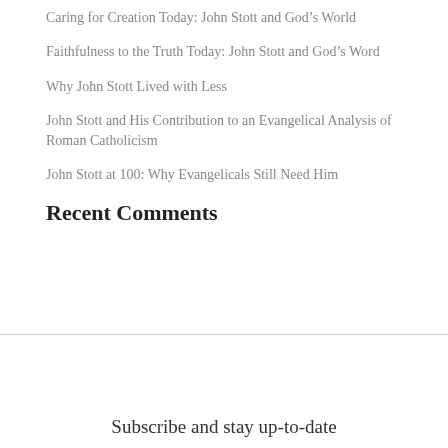Caring for Creation Today: John Stott and God’s World
Faithfulness to the Truth Today: John Stott and God’s Word
Why John Stott Lived with Less
John Stott and His Contribution to an Evangelical Analysis of Roman Catholicism
John Stott at 100: Why Evangelicals Still Need Him
Recent Comments
Subscribe and stay up-to-date